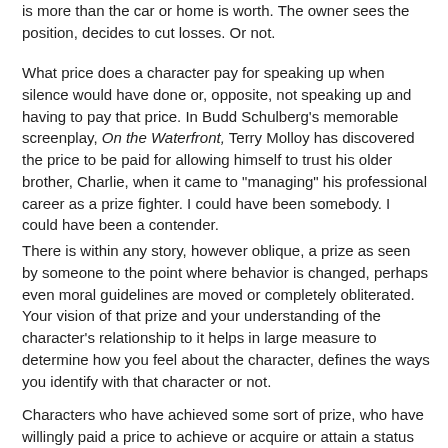is more than the car or home is worth. The owner sees the position, decides to cut losses. Or not.
What price does a character pay for speaking up when silence would have done or, opposite, not speaking up and having to pay that price. In Budd Schulberg's memorable screenplay, On the Waterfront, Terry Molloy has discovered the price to be paid for allowing himself to trust his older brother, Charlie, when it came to "managing" his professional career as a prize fighter. I could have been somebody. I could have been a contender.
There is within any story, however oblique, a prize as seen by someone to the point where behavior is changed, perhaps even moral guidelines are moved or completely obliterated. Your vision of that prize and your understanding of the character's relationship to it helps in large measure to determine how you feel about the character, defines the ways you identify with that character or not.
Characters who have achieved some sort of prize, who have willingly paid a price to achieve or acquire or attain a status